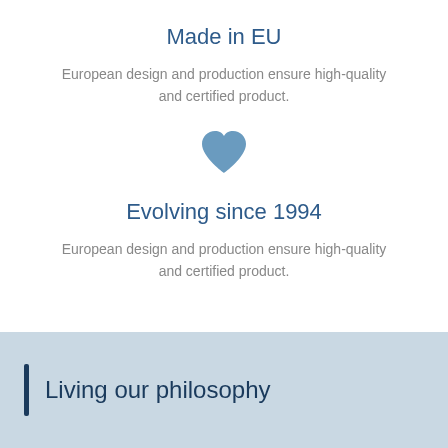Made in EU
European design and production ensure high-quality and certified product.
[Figure (illustration): A blue heart icon]
Evolving since 1994
European design and production ensure high-quality and certified product.
Living our philosophy